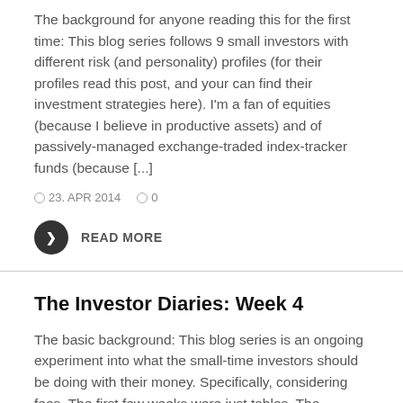The background for anyone reading this for the first time: This blog series follows 9 small investors with different risk (and personality) profiles (for their profiles read this post, and your can find their investment strategies here). I'm a fan of equities (because I believe in productive assets) and of passively-managed exchange-traded index-tracker funds (because [...]
23. APR 2014   0
READ MORE
The Investor Diaries: Week 4
The basic background: This blog series is an ongoing experiment into what the small-time investors should be doing with their money. Specifically, considering fees. The first few weeks were just tables. The portfolios have now morphed into their own